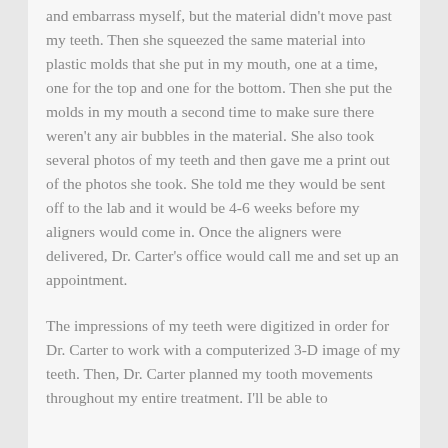and embarrass myself, but the material didn't move past my teeth. Then she squeezed the same material into plastic molds that she put in my mouth, one at a time, one for the top and one for the bottom. Then she put the molds in my mouth a second time to make sure there weren't any air bubbles in the material. She also took several photos of my teeth and then gave me a print out of the photos she took. She told me they would be sent off to the lab and it would be 4-6 weeks before my aligners would come in. Once the aligners were delivered, Dr. Carter's office would call me and set up an appointment.
The impressions of my teeth were digitized in order for Dr. Carter to work with a computerized 3-D image of my teeth. Then, Dr. Carter planned my tooth movements throughout my entire treatment. I'll be able to